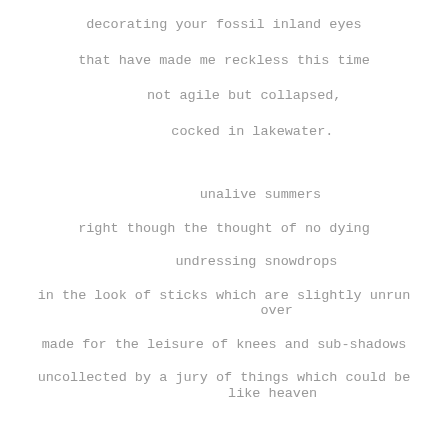decorating your fossil inland eyes

that have made me reckless this time

 not agile but collapsed,

   cocked in lakewater.


unalive summers

right though the thought of no dying

 undressing snowdrops

in the look of sticks which are slightly unrun
 over

made for the leisure of knees and sub-shadows

uncollected by a jury of things which could be
   like heaven